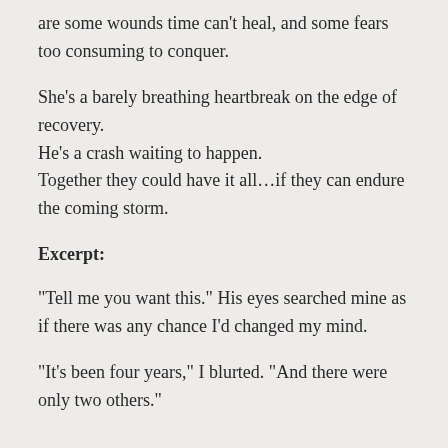are some wounds time can't heal, and some fears too consuming to conquer.
She's a barely breathing heartbreak on the edge of recovery.
He's a crash waiting to happen.
Together they could have it all…if they can endure the coming storm.
Excerpt:
“Tell me you want this.” His eyes searched mine as if there was any chance I’d changed my mind.
“It’s been four years,” I blurted. “And there were only two others.”